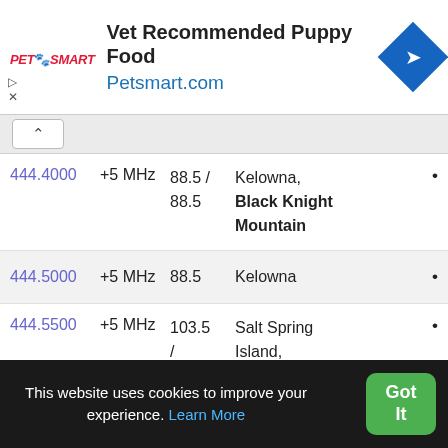[Figure (screenshot): PetSmart advertisement banner with logo, 'Vet Recommended Puppy Food' headline, Petsmart.com link, and blue diamond navigation icon]
| Frequency | Offset | Tones | Location |
| --- | --- | --- | --- |
| 444.4000 | +5 MHz | 88.5 / 88.5 | Kelowna, Black Knight Mountain |
| 444.5000 | +5 MHz | 88.5 | Kelowna |
| 444.5500 | +5 MHz | 103.5 / 103.5 | Salt Spring Island, Bruce Peak |
This website uses cookies to improve your experience. Learn More